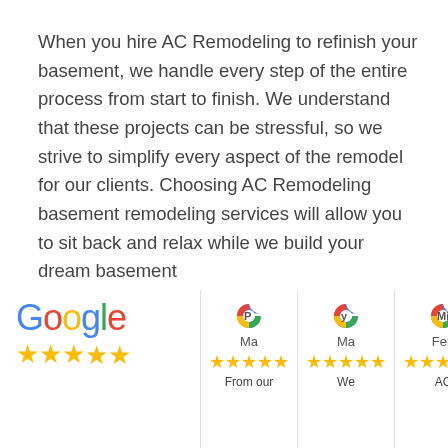When you hire AC Remodeling to refinish your basement, we handle every step of the entire process from start to finish. We understand that these projects can be stressful, so we strive to simplify every aspect of the remodel for our clients. Choosing AC Remodeling basement remodeling services will allow you to sit back and relax while we build your dream basement
[Figure (screenshot): Google reviews section showing the Google logo with colored letters, star ratings, and three review cards with reviewer icons labeled Ma, Ma, Feb with 5-star ratings and partial text 'From our', 'We', 'AC']